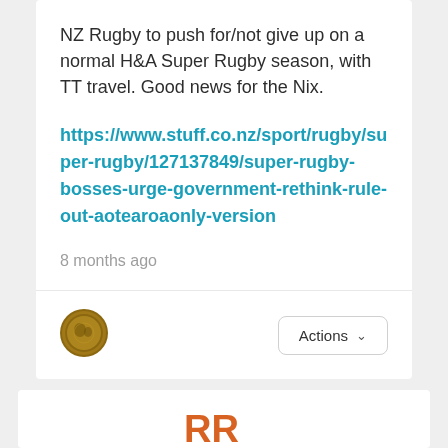NZ Rugby to push for/not give up on a normal H&A Super Rugby season, with TT travel. Good news for the Nix.
https://www.stuff.co.nz/sport/rugby/super-rugby/127137849/super-rugby-bosses-urge-government-rethink-rule-out-aotearoaonly-version
8 months ago
[Figure (illustration): Round user avatar with coin-like appearance in brown/gold tones]
Actions